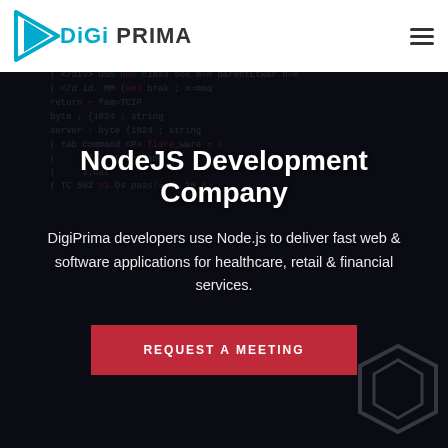[Figure (logo): DigiPrima logo with play-button icon in cyan/blue and text 'DiGi PRIMA']
[Figure (screenshot): Dark background with code editor text showing Node.js/HTML code snippets, with a laptop keyboard visible]
NodeJS Development Company
DigiPrima developers use Node.js to deliver fast web & software applications for healthcare, retail & financial services.
REQUEST A MEETING